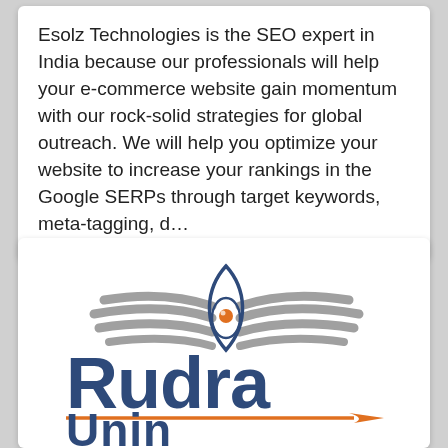Esolz Technologies is the SEO expert in India because our professionals will help your e-commerce website gain momentum with our rock-solid strategies for global outreach. We will help you optimize your website to increase your rankings in the Google SERPs through target keywords, meta-tagging, d...
[Figure (logo): Rudra logo with stylized eye/feather graphic above bold blue text 'Rudra' and partial text below, with orange decorative line element]